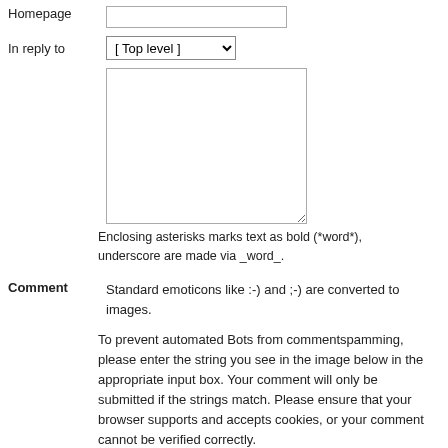Homepage
In reply to
[ Top level ]
Enclosing asterisks marks text as bold (*word*), underscore are made via _word_.
Comment
Standard emoticons like :-) and ;-) are converted to images.
To prevent automated Bots from commentspamming, please enter the string you see in the image below in the appropriate input box. Your comment will only be submitted if the strings match. Please ensure that your browser supports and accepts cookies, or your comment cannot be verified correctly.
[Figure (other): CAPTCHA image showing colorful letters: E T U Z]